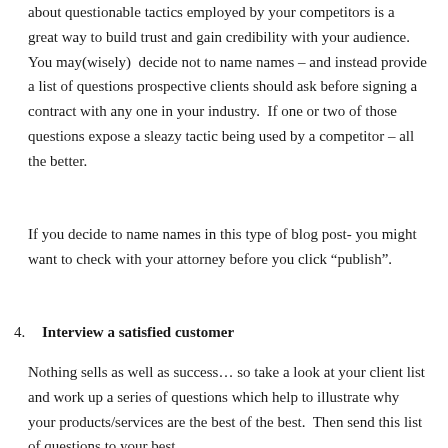about questionable tactics employed by your competitors is a great way to build trust and gain credibility with your audience. You may(wisely)  decide not to name names – and instead provide a list of questions prospective clients should ask before signing a contract with any one in your industry.  If one or two of those questions expose a sleazy tactic being used by a competitor – all the better.
If you decide to name names in this type of blog post- you might want to check with your attorney before you click “publish”.
4. Interview a satisfied customer
Nothing sells as well as success… so take a look at your client list and work up a series of questions which help to illustrate why your products/services are the best of the best.  Then send this list of questions to your best